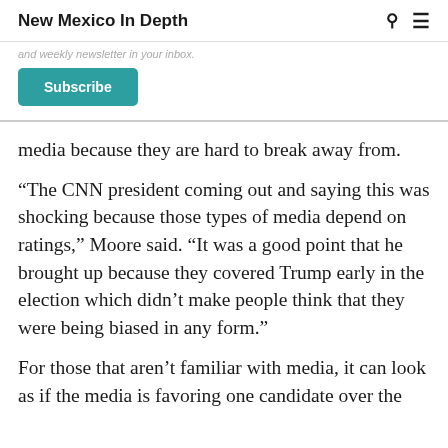New Mexico In Depth
and weekly newsletter in your inbox.
Subscribe
media because they are hard to break away from.
“The CNN president coming out and saying this was shocking because those types of media depend on ratings,” Moore said. “It was a good point that he brought up because they covered Trump early in the election which didn’t make people think that they were being biased in any form.”
For those that aren’t familiar with media, it can look as if the media is favoring one candidate over the